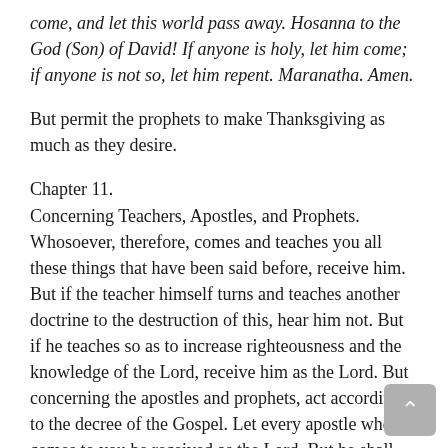come, and let this world pass away. Hosanna to the God (Son) of David! If anyone is holy, let him come; if anyone is not so, let him repent. Maranatha. Amen.
But permit the prophets to make Thanksgiving as much as they desire.
Chapter 11.
Concerning Teachers, Apostles, and Prophets. Whosoever, therefore, comes and teaches you all these things that have been said before, receive him. But if the teacher himself turns and teaches another doctrine to the destruction of this, hear him not. But if he teaches so as to increase righteousness and the knowledge of the Lord, receive him as the Lord. But concerning the apostles and prophets, act according to the decree of the Gospel. Let every apostle who comes to you be received as the Lord. But he shall not remain more than one day; or two days, if there's a need.